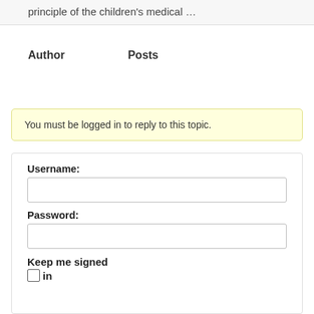principle of the children's medical …
| Author | Posts |
| --- | --- |
You must be logged in to reply to this topic.
Username:
Password:
Keep me signed in